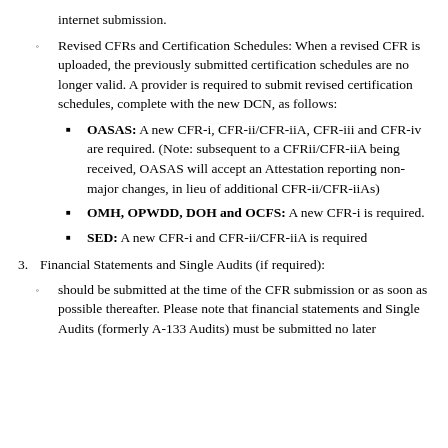internet submission.
Revised CFRs and Certification Schedules: When a revised CFR is uploaded, the previously submitted certification schedules are no longer valid. A provider is required to submit revised certification schedules, complete with the new DCN, as follows:
OASAS: A new CFR-i, CFR-ii/CFR-iiA, CFR-iii and CFR-iv are required. (Note: subsequent to a CFRii/CFR-iiA being received, OASAS will accept an Attestation reporting non-major changes, in lieu of additional CFR-ii/CFR-iiAs)
OMH, OPWDD, DOH and OCFS: A new CFR-i is required.
SED: A new CFR-i and CFR-ii/CFR-iiA is required
3. Financial Statements and Single Audits (if required):
should be submitted at the time of the CFR submission or as soon as possible thereafter. Please note that financial statements and Single Audits (formerly A-133 Audits) must be submitted no later